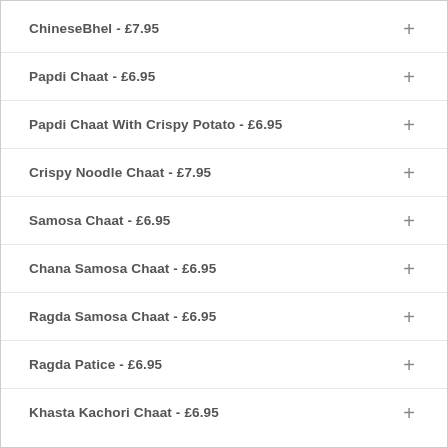ChineseBhel - £7.95
Papdi Chaat - £6.95
Papdi Chaat With Crispy Potato - £6.95
Crispy Noodle Chaat - £7.95
Samosa Chaat - £6.95
Chana Samosa Chaat - £6.95
Ragda Samosa Chaat - £6.95
Ragda Patice - £6.95
Khasta Kachori Chaat - £6.95